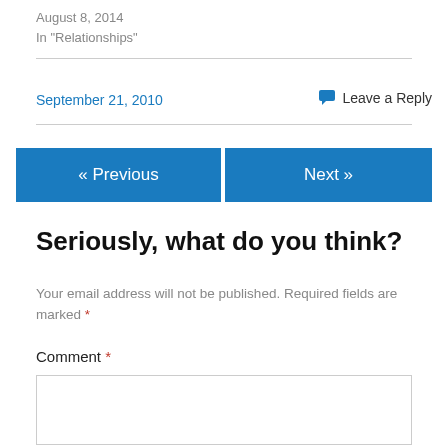August 8, 2014
In "Relationships"
September 21, 2010
Leave a Reply
« Previous
Next »
Seriously, what do you think?
Your email address will not be published. Required fields are marked *
Comment *